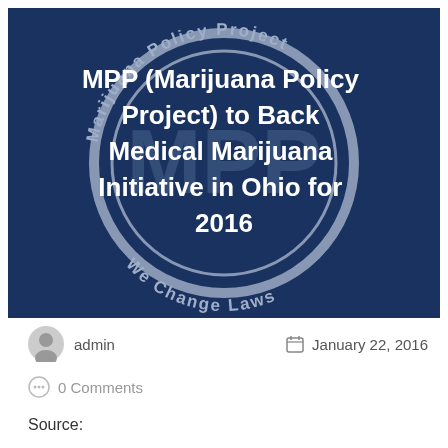[Figure (illustration): Dark navy blue banner image with Marijuana Policy Project circular seal/logo (grey circle with text 'Marijuana Policy Project We Change Laws' and 'MPP' letters in center). White text overlay reads: MPP (Marijuana Policy Project) to Back Medical Marijuana Initiative in Ohio for 2016]
MPP (Marijuana Policy Project) to Back Medical Marijuana Initiative in Ohio for 2016
admin
January 22, 2016
0 Comments
Source: